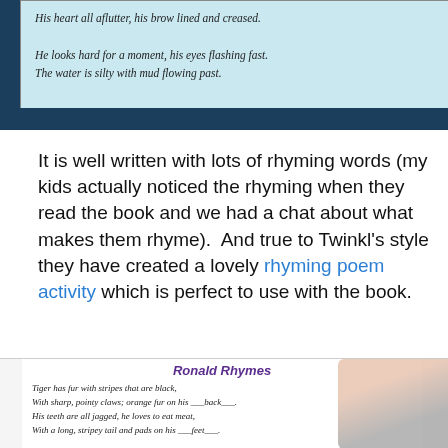[Figure (photo): Photo of an open children's book showing italic poem text on a teal/blue background. Lines visible: 'His heart all aflutter, his brow lined and creased.' and 'He looks hard for a moment, his eyes flashing fast. / The water is silty with mud flowing past.' The book is placed on a dark blue surface.]
It is well written with lots of rhyming words (my kids actually noticed the rhyming when they read the book and we had a chat about what makes them rhyme).  And true to Twinkl's style they have created a lovely rhyming poem activity which is perfect to use with the book.
[Figure (photo): Photo of a worksheet titled 'Ronald Rhymes' with rhyming poem fill-in-the-blank activity. Visible text: 'Tiger has fur with stripes that are black, / With sharp, pointy claws; orange fur on his _back_. / His teeth are all jagged, he loves to eat meat, / With a long, stripey tail and pads on his _feet_. // Monkey is funny, he swings from a tree, / His tail helps him balance, he's gentle as can _'. A child's hand holding a pencil/pen is visible in the top right.]